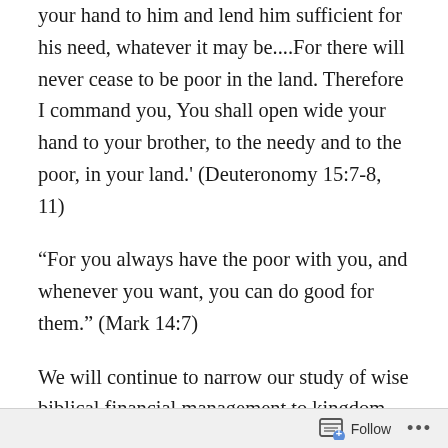your hand to him and lend him sufficient for his need, whatever it may be....For there will never cease to be poor in the land. Therefore I command you, You shall open wide your hand to your brother, to the needy and to the poor, in your land.' (Deuteronomy 15:7-8, 11)
“For you always have the poor with you, and whenever you want, you can do good for them.” (Mark 14:7)
We will continue to narrow our study of wise biblical financial management to kingdom stewardship. Many people living in developed countries have no practical understanding of
Follow